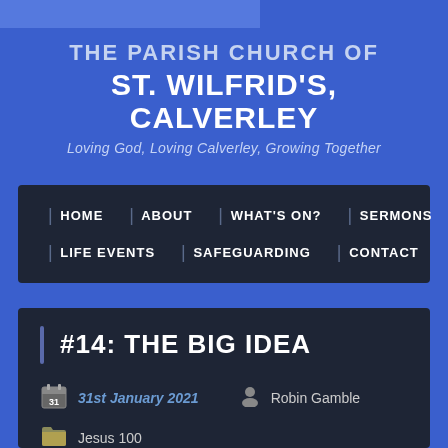THE PARISH CHURCH OF ST. WILFRID'S, CALVERLEY
Loving God, Loving Calverley, Growing Together
HOME | ABOUT | WHAT'S ON? | SERMONS | LIFE EVENTS | SAFEGUARDING | CONTACT
#14: THE BIG IDEA
31st January 2021   Robin Gamble
Jesus 100